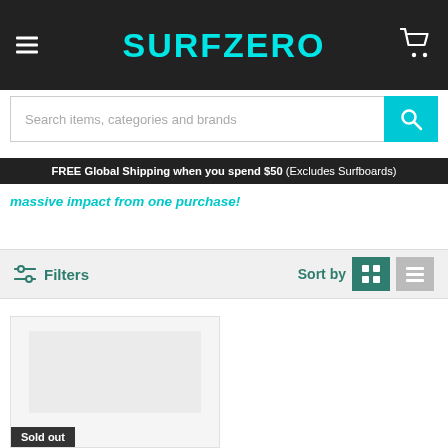SURFZERO
Search items, categories and brands
FREE Global Shipping when you spend $50 (Excludes Surfboards)
massive impact from one purchase!
Filters  Sort by
[Figure (screenshot): Product card with sold out badge]